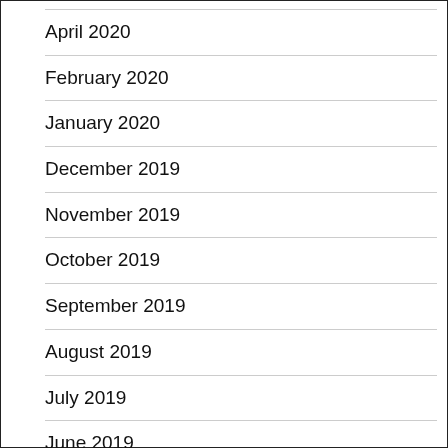April 2020
February 2020
January 2020
December 2019
November 2019
October 2019
September 2019
August 2019
July 2019
June 2019